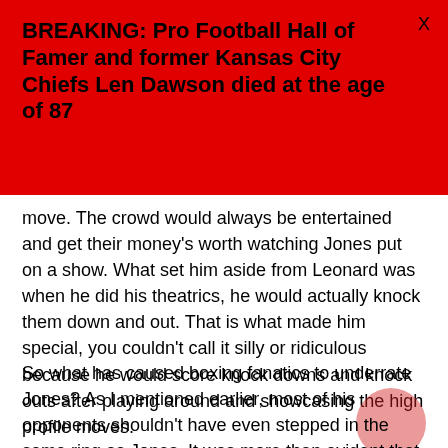BREAKING: Pro Football Hall of Famer and former Kansas City Chiefs Len Dawson died at the age of 87
move. The crowd would always be entertained and get their money's worth watching Jones put on a show. What set him aside from Leonard was when he did his theatrics, he would actually knock them down and out. That is what made him special, you couldn't call it silly or ridiculous because he would score knock downs and knock outs after playing around and showcasing the high profile moves.
So what has caused boxing fanatics to underrate Jones? As I mentioned earlier, most of his opponents shouldn't have even stepped in the same ring as Jones. It was more than evident that Jones was far ahead of his counterparts. 30 of his first 35 wins